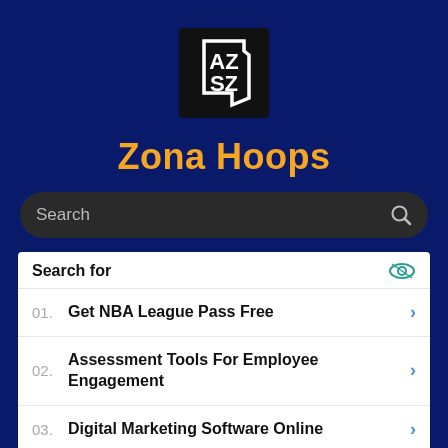[Figure (logo): AZ SZ logo in white text on black background square, representing Zona Hoops website logo]
Zona Hoops
Search
Search for
01. Get NBA League Pass Free
02. Assessment Tools For Employee Engagement
03. Digital Marketing Software Online
04. Business Intelligence Analytics Software Market